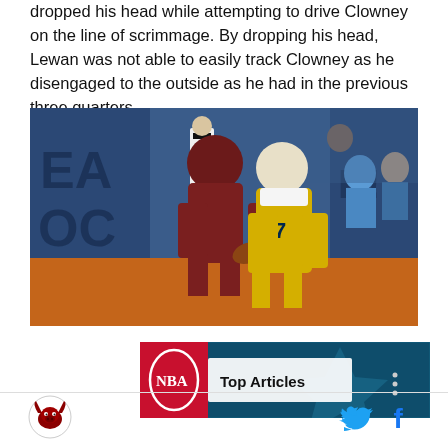dropped his head while attempting to drive Clowney on the line of scrimmage. By dropping his head, Lewan was not able to easily track Clowney as he disengaged to the outside as he had in the previous three quarters.
[Figure (photo): Football players engaged in a block on the line of scrimmage. A player in a dark red uniform (Clowney) is being blocked by a player in a yellow and white Michigan uniform (number 77, Lewan). A referee in black and white stripes is visible in the background, along with spectators.]
[Figure (screenshot): NBA advertisement or article widget showing 'Top Articles' label with NBA logo and a basketball court background image with a star graphic.]
[Figure (logo): Circular logo with a bull/longhorn icon, appears to be a sports site logo (SB Nation / Burnt Orange Nation style).]
[Figure (other): Twitter and Facebook social media sharing icons in cyan/blue color.]